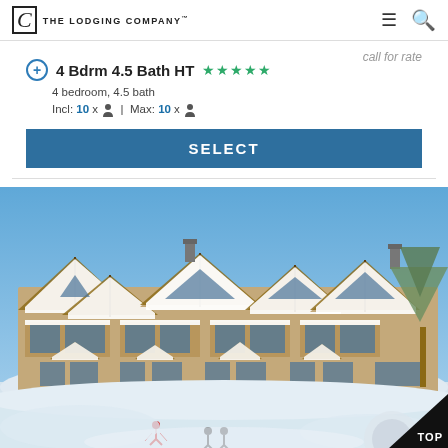The Lodging Company
4 Bdrm 4.5 Bath HT ★★★★★
4 bedroom, 4.5 bath
Incl: 10 x 👤 | Max: 10 x 👤
call for rate
SELECT
[Figure (photo): Snow-covered ski lodge / condominium complex photographed in winter with blue sky. Multi-story building with chalet-style peaked roofs, large windows, and balconies, surrounded by deep snow with skiers in foreground.]